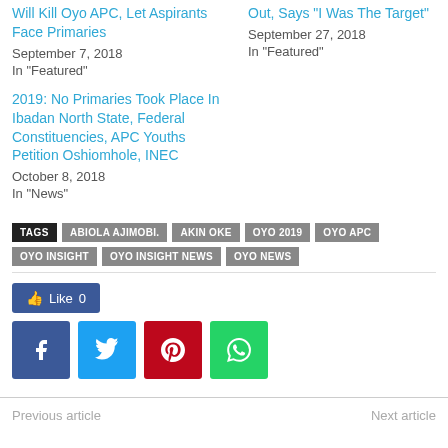Will Kill Oyo APC, Let Aspirants Face Primaries
September 7, 2018
In "Featured"
Out, Says “I Was The Target”
September 27, 2018
In "Featured"
2019: No Primaries Took Place In Ibadan North State, Federal Constituencies, APC Youths Petition Oshiomhole, INEC
October 8, 2018
In "News"
TAGS  ABIOLA AJIMOBI.  AKIN OKE  OYO 2019  OYO APC  OYO INSIGHT  OYO INSIGHT NEWS  OYO NEWS
[Figure (other): Social share buttons: Like 0 (Facebook), Facebook share, Twitter share, Pinterest share, WhatsApp share]
Previous article
Next article